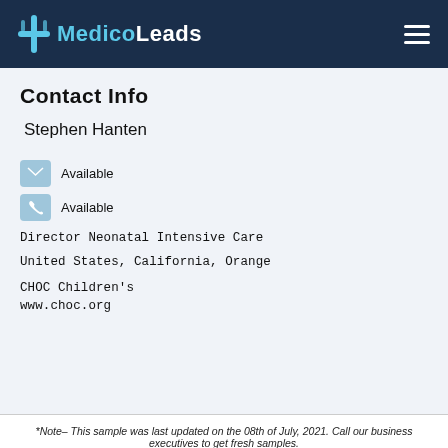MedicoLeads
Contact Info
Stephen Hanten
Available (email)
Available (phone)
Director Neonatal Intensive Care
United States, California, Orange
CHOC Children's
www.choc.org
*Note– This sample was last updated on the 08th of July, 2021. Call our business executives to get fresh samples.